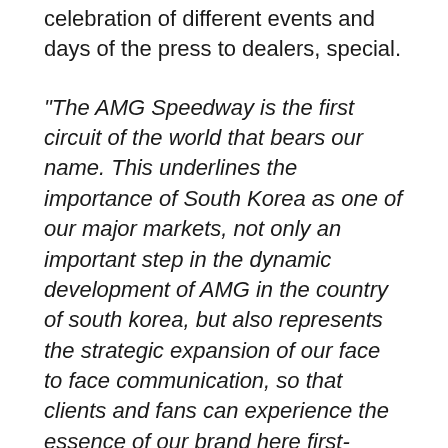celebration of different events and days of the press to dealers, special.
“The AMG Speedway is the first circuit of the world that bears our name. This underlines the importance of South Korea as one of our major markets, not only an important step in the dynamic development of AMG in the country of south korea, but also represents the strategic expansion of our face to face communication, so that clients and fans can experience the essence of our brand here first-hand”, says Tobias Moers, CEO of Mercedes-AMG GmbH.
The circuit AMG Speedway is based first on the racetrack standing of South Korea opened in 1995. In 2011, the path was